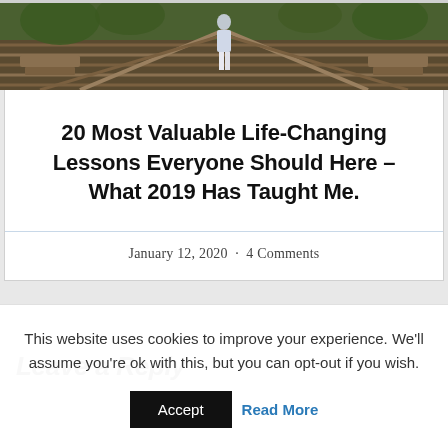[Figure (photo): Photo of a person on a wooden bridge walkway with greenery, cropped at top of page]
20 Most Valuable Life-Changing Lessons Everyone Should Here – What 2019 Has Taught Me.
January 12, 2020 · 4 Comments
Leave a Reply
This website uses cookies to improve your experience. We'll assume you're ok with this, but you can opt-out if you wish.